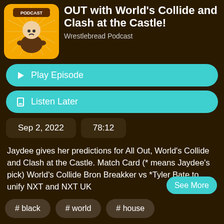[Figure (logo): Wrestlebread Podcast logo — cartoon wrestler character on orange sunburst background with 'PODCAST' text]
OUT with World's Collide and Clash at the Castle!
Wrestlebread Podcast
▶ Play Episode
☐ Listen Later
Sep 2, 2022
78:12
Jaydee gives her predictions for All Out, World's Collide and Clash at the Castle.  Match Card (* means Jaydee's pick) World's Collide Bron Breakker vs *Tyler Bate to unify NXT and NXT UK
See More
# black
# world
# house